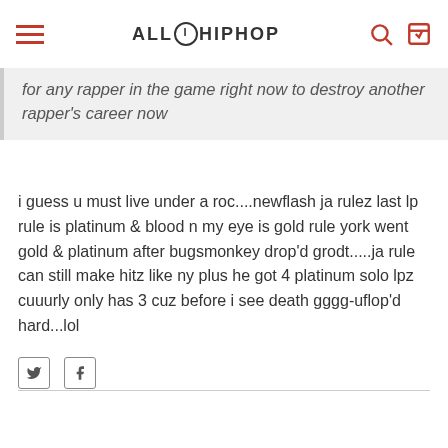ALL HIP HOP
for any rapper in the game right now to destroy another rapper's career now
i guess u must live under a roc....newflash ja rulez last lp rule is platinum & blood n my eye is gold rule york went gold & platinum after bugsmonkey drop'd grodt.....ja rule can still make hitz like ny plus he got 4 platinum solo lpz cuuurly only has 3 cuz before i see death gggg-uflop'd hard...lol